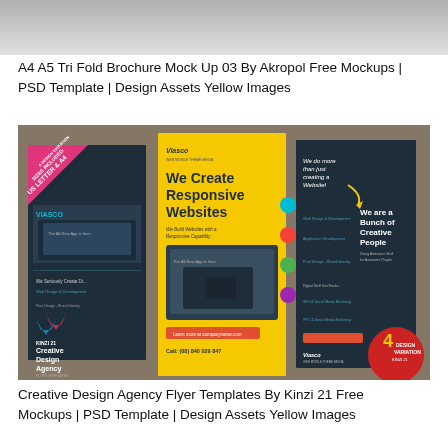[Figure (photo): Gray gradient banner image at the top of the page]
A4 A5 Tri Fold Brochure Mock Up 03 By Akropol Free Mockups | PSD Template | Design Assets Yellow Images
[Figure (photo): Mockup image showing tri-fold brochure and flyer templates with text 'We Create Responsive Websites', 'We are a Bunch of Creative People', 'Creative Design Agency Flyer Templates', 'Viasco', 'Call: (08) 840 029 847', '4 Design Variation', 'US LETTER & A4']
Creative Design Agency Flyer Templates By Kinzi 21 Free Mockups | PSD Template | Design Assets Yellow Images